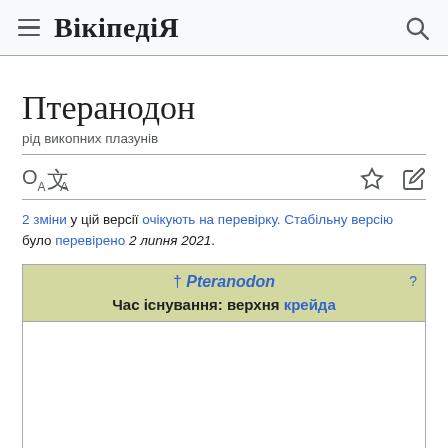Вікіпедія
Птеранодон
рід викопних плазунів
2 зміни у цій версії очікують на перевірку. Стабільну версію було перевірено 2 липня 2021.
| † Pteranodon |
| --- |
| Час існування: верхня крейда |
| (image area) |